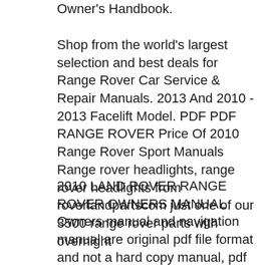Owner's Handbook.
Shop from the world's largest selection and best deals for Range Rover Car Service & Repair Manuals. 2013 And 2010 - 2013 Facelift Model. PDF PDF RANGE ROVER Price Of 2010 Range Rover Sport Manuals Range rover headlights, range rover headlights from roverlandpartscom just one of our 3500 range rover parts with overnight
2010 LAND ROVER RANGE ROVER OWNERS MANUAL Owners manual and navigation manual are original pdf file format and not a hard copy manual, pdf file is an electronic copy Get instant access to your factory-authorized 2010